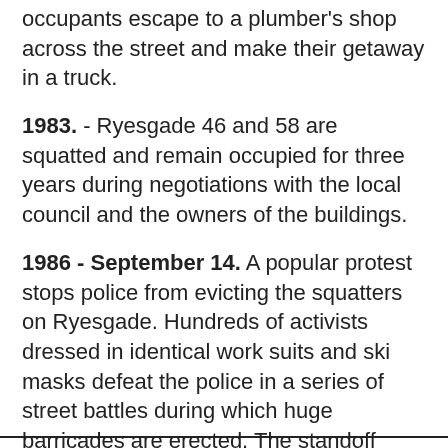occupants escape to a plumber's shop across the street and make their getaway in a truck.
1983. - Ryesgade 46 and 58 are squatted and remain occupied for three years during negotiations with the local council and the owners of the buildings.
1986 - September 14. A popular protest stops police from evicting the squatters on Ryesgade. Hundreds of activists dressed in identical work suits and ski masks defeat the police in a series of street battles during which huge barricades are erected. The standoff continues until September 22, when the city government calls on the Danish army for assistance, and the defenders withdraw to pick their next battle.